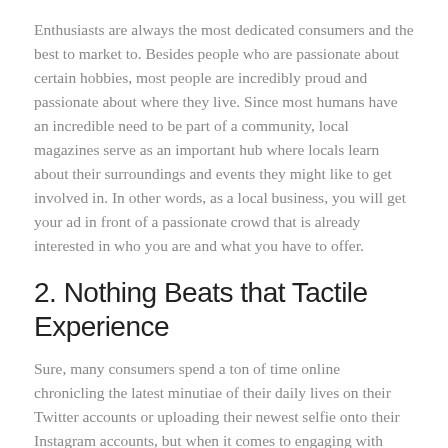Enthusiasts are always the most dedicated consumers and the best to market to. Besides people who are passionate about certain hobbies, most people are incredibly proud and passionate about where they live. Since most humans have an incredible need to be part of a community, local magazines serve as an important hub where locals learn about their surroundings and events they might like to get involved in. In other words, as a local business, you will get your ad in front of a passionate crowd that is already interested in who you are and what you have to offer.
2. Nothing Beats that Tactile Experience
Sure, many consumers spend a ton of time online chronicling the latest minutiae of their daily lives on their Twitter accounts or uploading their newest selfie onto their Instagram accounts, but when it comes to engaging with